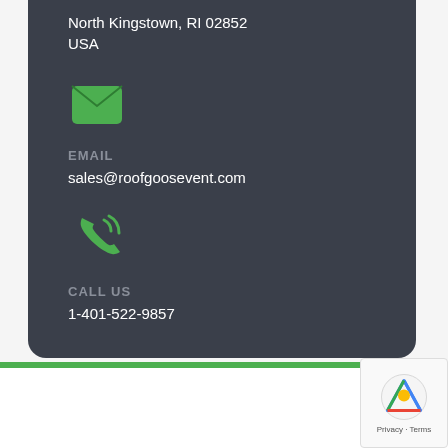North Kingstown, RI 02852
USA
[Figure (illustration): Green email/envelope icon]
EMAIL
sales@roofgoosevent.com
[Figure (illustration): Green phone/call icon with signal waves]
CALL US
1-401-522-9857
MENU
Home
Shop
SUPPORT DOCUMENTS
PRODUCT DATA
CAD FILES